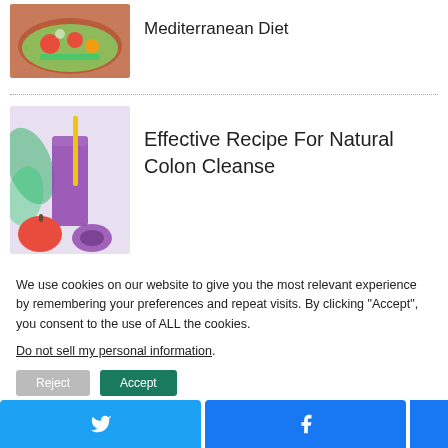[Figure (photo): Bowl of Mediterranean salad with vegetables]
Mediterranean Diet
[Figure (photo): Purple beet/berry smoothie in a glass with apple and beet on the side]
Effective Recipe For Natural Colon Cleanse
[Figure (logo): Circular green plant/leaf logo on light blue background]
We use cookies on our website to give you the most relevant experience by remembering your preferences and repeat visits. By clicking “Accept”, you consent to the use of ALL the cookies.
Do not sell my personal information.